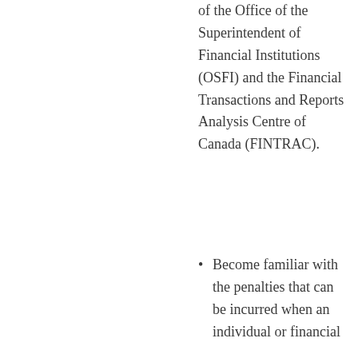of the Office of the Superintendent of Financial Institutions (OSFI) and the Financial Transactions and Reports Analysis Centre of Canada (FINTRAC).
Become familiar with the penalties that can be incurred when an individual or financial